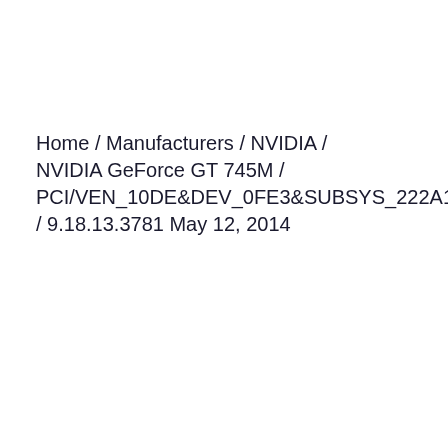Home / Manufacturers / NVIDIA / NVIDIA GeForce GT 745M / PCI/VEN_10DE&DEV_0FE3&SUBSYS_222A1043 / 9.18.13.3781 May 12, 2014